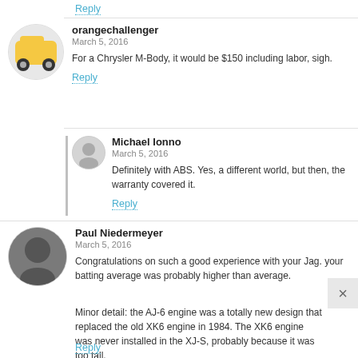Reply
orangechallenger
March 5, 2016
For a Chrysler M-Body, it would be $150 including labor, sigh.
Reply
Michael Ionno
March 5, 2016
Definitely with ABS. Yes, a different world, but then, the warranty covered it.
Reply
Paul Niedermeyer
March 5, 2016
Congratulations on such a good experience with your Jag. your batting average was probably higher than average.

Minor detail: the AJ-6 engine was a totally new design that replaced the old XK6 engine in 1984. The XK6 engine was never installed in the XJ-S, probably because it was too tall.
Reply